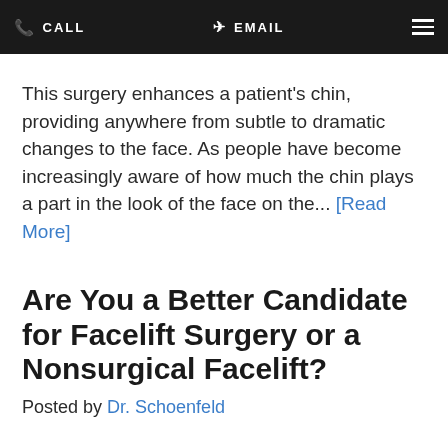CALL   EMAIL
This surgery enhances a patient's chin, providing anywhere from subtle to dramatic changes to the face. As people have become increasingly aware of how much the chin plays a part in the look of the face on the... [Read More]
Are You a Better Candidate for Facelift Surgery or a Nonsurgical Facelift?
Posted by Dr. Schoenfeld